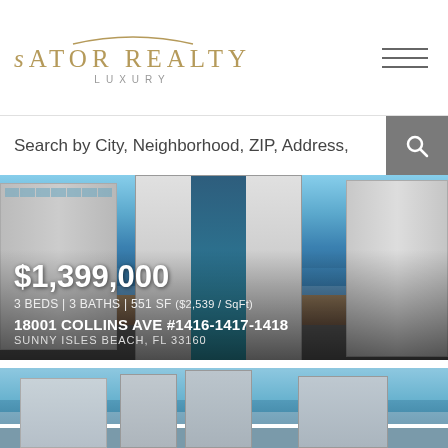[Figure (logo): Sator Realty Luxury logo with gold text and decorative curve]
Search by City, Neighborhood, ZIP, Address,
[Figure (photo): Aerial view of luxury high-rise condominiums in Sunny Isles Beach, FL with ocean in background]
$1,399,000
3 BEDS | 3 BATHS | 551 SF ($2,539 / SqFt)
18001 COLLINS AVE #1416-1417-1418
SUNNY ISLES BEACH, FL 33160
[Figure (photo): Partial view of luxury waterfront high-rise buildings with blue sky, second property listing]